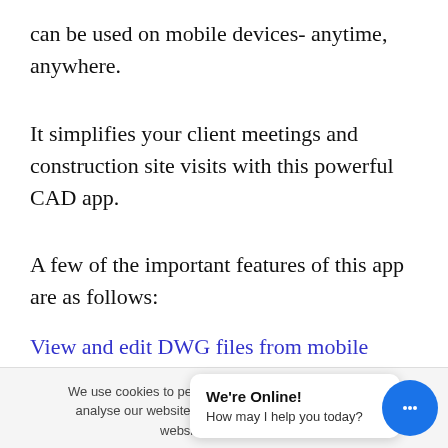can be used on mobile devices- anytime, anywhere.
It simplifies your client meetings and construction site visits with this powerful CAD app.
A few of the important features of this app are as follows:
View and edit DWG files from mobile storage.
We use cookies to personalise your experience and to analyse our website traffic. By continuing to use our website, View privac...
[Figure (screenshot): Chat popup saying 'We're Online! How may I help you today?' with a blue chat bubble icon]